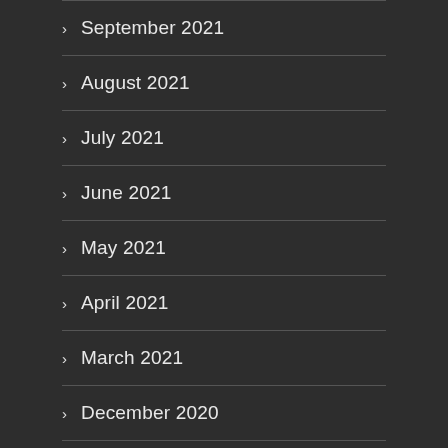September 2021
August 2021
July 2021
June 2021
May 2021
April 2021
March 2021
December 2020
November 2020
October 2020